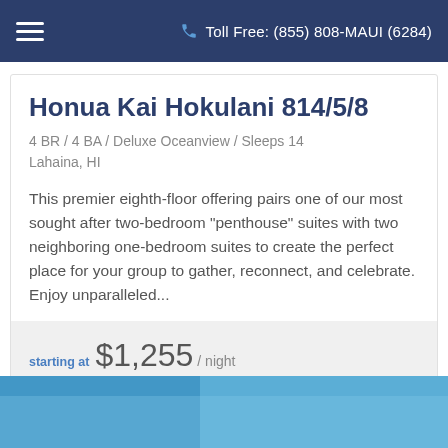Toll Free: (855) 808-MAUI (6284)
Honua Kai Hokulani 814/5/8
4 BR / 4 BA / Deluxe Oceanview / Sleeps 14
Lahaina, HI
This premier eighth-floor offering pairs one of our most sought after two-bedroom "penthouse" suites with two neighboring one-bedroom suites to create the perfect place for your group to gather, reconnect, and celebrate. Enjoy unparalleled...
starting at $1,255 /night
[Figure (photo): Partial photo strip at bottom of page, showing sky blue tones]